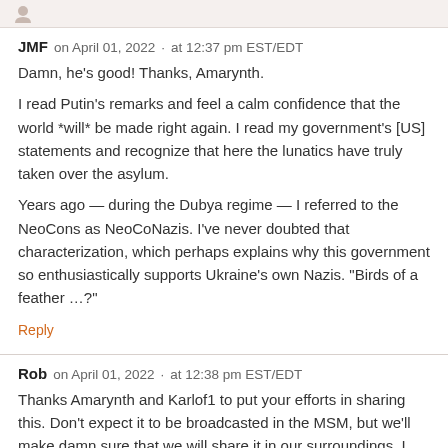JMF  on April 01, 2022  ·  at 12:37 pm EST/EDT
Damn, he's good! Thanks, Amarynth.
I read Putin's remarks and feel a calm confidence that the world *will* be made right again. I read my government's [US] statements and recognize that here the lunatics have truly taken over the asylum.
Years ago — during the Dubya regime — I referred to the NeoCons as NeoCoNazis. I've never doubted that characterization, which perhaps explains why this government so enthusiastically supports Ukraine's own Nazis. “Birds of a feather …?”
Reply
Rob  on April 01, 2022  ·  at 12:38 pm EST/EDT
Thanks Amarynth and Karlof1 to put your efforts in sharing this. Don’t expect it to be broadcasted in the MSM, but we’ll make damn sure that we will share it in our surroundings. I will, at least.